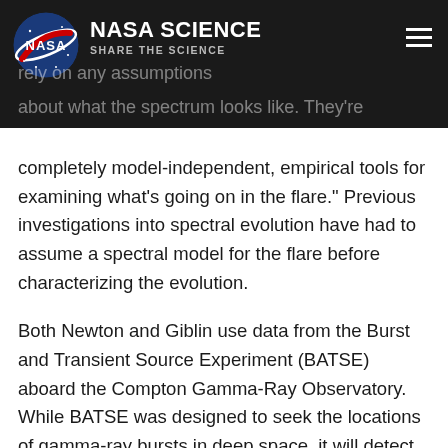NASA SCIENCE
SHARE THE SCIENCE
...rely on any assumptions about what the spectrum looks like. They're completely model-independent, empirical tools for examining what's going on in the flare." Previous investigations into spectral evolution have had to assume a spectral model for the flare before characterizing the evolution.
Both Newton and Giblin use data from the Burst and Transient Source Experiment (BATSE) aboard the Compton Gamma-Ray Observatory. While BATSE was designed to seek the locations of gamma-ray bursts in deep space, it will detect any gamma-rays or X-rays from any object in space, including the Sun.
BATSE detects radiation from flares between